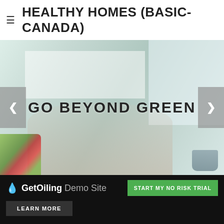≡ HEALTHY HOMES (BASIC-CANADA)
[Figure (photo): Hero/banner image of a bright kitchen with a woman and child, overlaid with the text 'GO BEYOND GREEN'. Left and right carousel navigation arrows are visible on the sides.]
🔵 GetOiling Demo Site | START MY NO RISK TRIAL | LEARN MORE